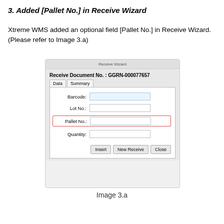3. Added [Pallet No.] in Receive Wizard
Xtreme WMS added an optional field [Pallet No.] in Receive Wizard. (Please refer to Image 3.a)
[Figure (screenshot): Screenshot of Receive Wizard dialog showing fields: Barcode, Lot No., Pallet No. (highlighted with red border), Quantity, and buttons Insert, New Receive, Close. Header shows Receive Document No.: GGRN-000077657 with Data and Summary tabs.]
Image 3.a